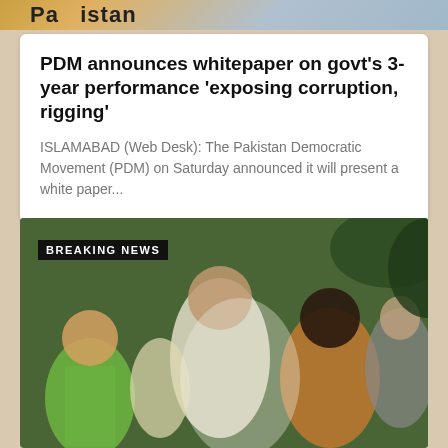[Figure (photo): Partial top banner image showing 'Pakistan' text with colorful background]
PDM announces whitepaper on govt's 3-year performance 'exposing corruption, rigging'
ISLAMABAD (Web Desk): The Pakistan Democratic Movement (PDM) on Saturday announced it will present a white paper...
[Figure (photo): Breaking news video frame showing crowd of people, with a 'BREAKING NEWS' label overlay in the top-left corner]